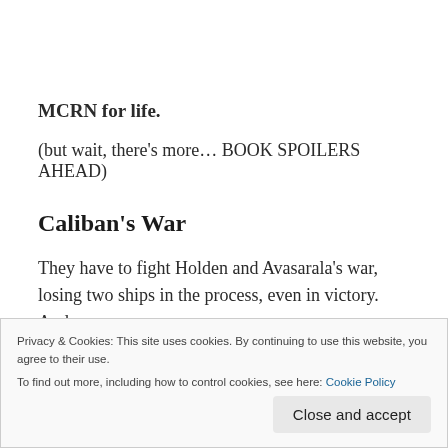MCRN for life.
(but wait, there’s more… BOOK SPOILERS AHEAD)
Caliban’s War
They have to fight Holden and Avasarala’s war, losing two ships in the process, even in victory. And
Privacy & Cookies: This site uses cookies. By continuing to use this website, you agree to their use.
To find out more, including how to control cookies, see here: Cookie Policy
Close and accept
ENTIRE PLANET’S POPULATION.